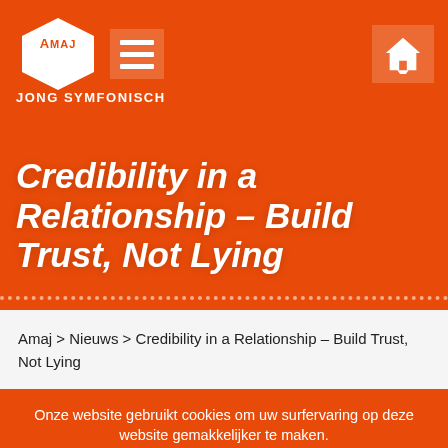[Figure (logo): AMAJ hexagon logo with hamburger menu icon and home icon on orange background, with text JONG SYMFONISCH below logo]
Credibility in a Relationship – Build Trust, Not Lying
Amaj > Nieuws > Credibility in a Relationship – Build Trust, Not Lying
Onze website gebruikt cookies om uw surfervaring op deze website gemakkelijker te maken.  Ok, bedankt!